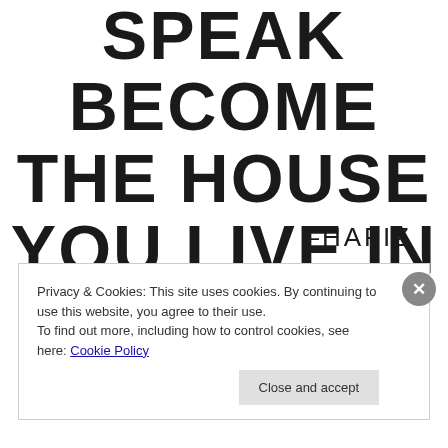SPEAK BECOME THE HOUSE YOU LIVE IN
–HAFIZ
Privacy & Cookies: This site uses cookies. By continuing to use this website, you agree to their use.
To find out more, including how to control cookies, see here: Cookie Policy
Close and accept